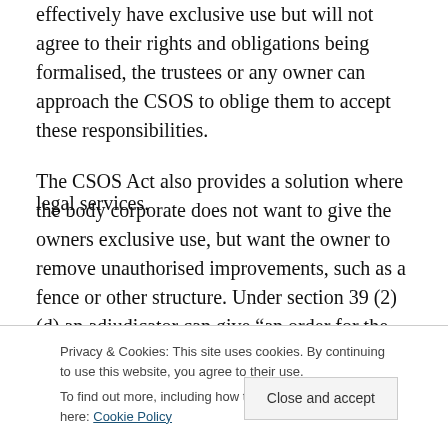effectively have exclusive use but will not agree to their rights and obligations being formalised, the trustees or any owner can approach the CSOS to oblige them to accept these responsibilities.
The CSOS Act also provides a solution where the body corporate does not want to give the owners exclusive use, but want the owner to remove unauthorised improvements, such as a fence or other structure. Under section 39 (2) (d) an adjudicator can give “an order for the removal of all articles placed on or attached illegally to
legal services.